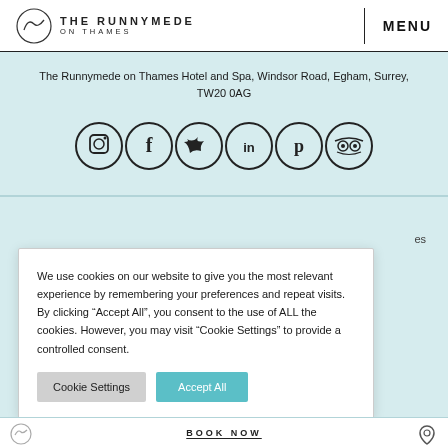THE RUNNYMEDE ON THAMES | MENU
The Runnymede on Thames Hotel and Spa, Windsor Road, Egham, Surrey, TW20 0AG
[Figure (illustration): Social media icons: Instagram, Facebook, Twitter, LinkedIn, Pinterest, TripAdvisor]
We use cookies on our website to give you the most relevant experience by remembering your preferences and repeat visits. By clicking “Accept All”, you consent to the use of ALL the cookies. However, you may visit “Cookie Settings” to provide a controlled consent.
Cookie Settings | Accept All
BOOK NOW